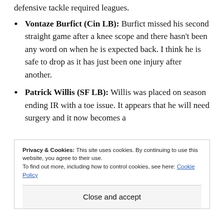defensive tackle required leagues.
Vontaze Burfict (Cin LB): Burfict missed his second straight game after a knee scope and there hasn't been any word on when he is expected back. I think he is safe to drop as it has just been one injury after another.
Patrick Willis (SF LB): Willis was placed on season ending IR with a toe issue. It appears that he will need surgery and it now becomes a
Privacy & Cookies: This site uses cookies. By continuing to use this website, you agree to their use.
To find out more, including how to control cookies, see here: Cookie Policy
Close and accept